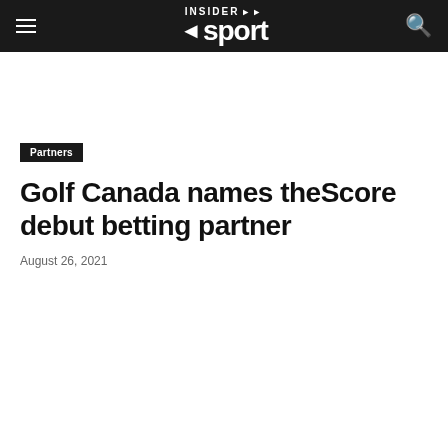INSIDER sport
Partners
Golf Canada names theScore debut betting partner
August 26, 2021